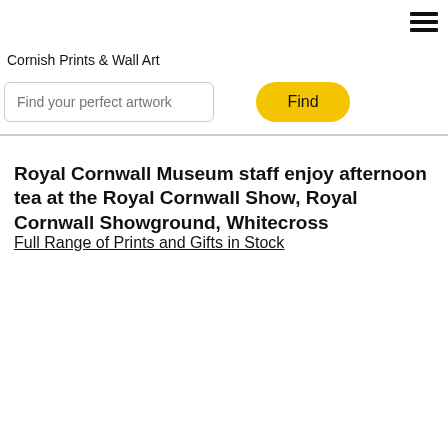Cornish Prints & Wall Art
Find your perfect artwork
Find
Royal Cornwall Museum staff enjoy afternoon tea at the Royal Cornwall Show, Royal Cornwall Showground, Whitecross
Full Range of Prints and Gifts in Stock